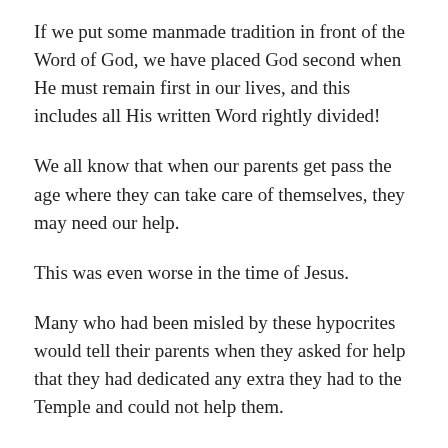If we put some manmade tradition in front of the Word of God, we have placed God second when He must remain first in our lives, and this includes all His written Word rightly divided!
We all know that when our parents get pass the age where they can take care of themselves, they may need our help.
This was even worse in the time of Jesus.
Many who had been misled by these hypocrites would tell their parents when they asked for help that they had dedicated any extra they had to the Temple and could not help them.
We do not know if this was done for spite or other